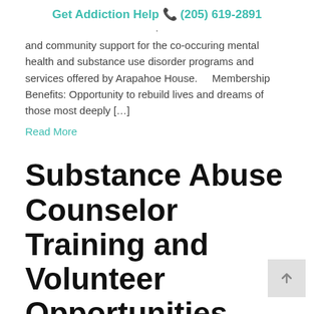Get Addiction Help 📞 (205) 619-2891
. and community support for the co-occuring mental health and substance use disorder programs and services offered by Arapahoe House.     Membership Benefits: Opportunity to rebuild lives and dreams of those most deeply […]
Read More
Substance Abuse Counselor Training and Volunteer Opportunities
By arapahoehouse    Posted on 03.12.2020
Posted in get-involved